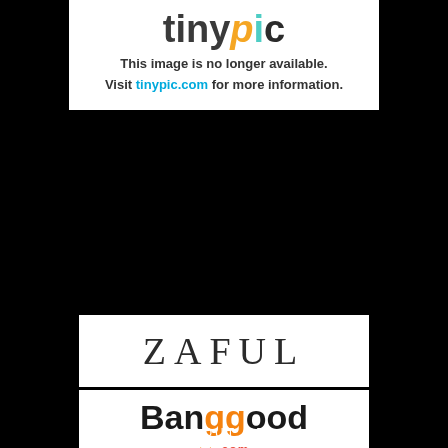[Figure (logo): Tinypic placeholder image showing 'This image is no longer available. Visit tinypic.com for more information.']
[Figure (logo): ZAFUL brand logo in serif font on white background]
[Figure (logo): Banggood.com brand logo with orange 'gg' letters and smile arc]
[Figure (logo): GAMISS brand logo in light sans-serif on white background]
ABOUT ME